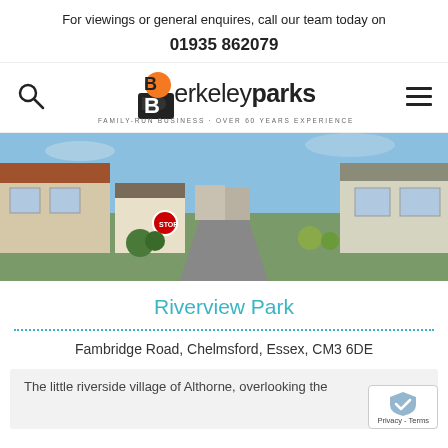For viewings or general enquires, call our team today on
01935 862079
[Figure (logo): Berkeley Parks logo with orange circle B icon and text 'berkeleyparks - FAMILY-RUN BUSINESS · OVER 60 YEARS EXPERIENCE']
[Figure (photo): Street view photo of a residential park with mobile homes on either side of a road, stop sign visible, blue sky]
Riverview Park
Fambridge Road, Chelmsford, Essex, CM3 6DE
The little riverside village of Althorne, overlooking the